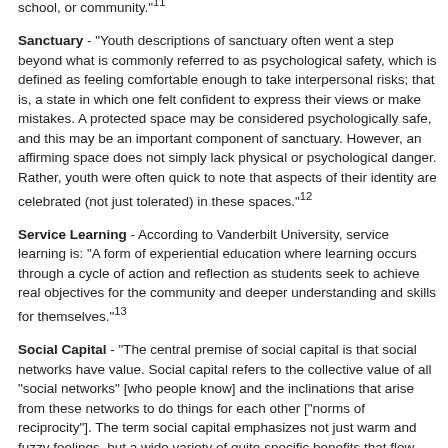school, or community."11
Sanctuary - "Youth descriptions of sanctuary often went a step beyond what is commonly referred to as psychological safety, which is defined as feeling comfortable enough to take interpersonal risks; that is, a state in which one felt confident to express their views or make mistakes. A protected space may be considered psychologically safe, and this may be an important component of sanctuary. However, an affirming space does not simply lack physical or psychological danger. Rather, youth were often quick to note that aspects of their identity are celebrated (not just tolerated) in these spaces."12
Service Learning - According to Vanderbilt University, service learning is: "A form of experiential education where learning occurs through a cycle of action and reflection as students seek to achieve real objectives for the community and deeper understanding and skills for themselves."13
Social Capital - "The central premise of social capital is that social networks have value. Social capital refers to the collective value of all “social networks” [who people know] and the inclinations that arise from these networks to do things for each other [“norms of reciprocity”]. The term social capital emphasizes not just warm and fuzzy feelings, but a wide variety of quite specific benefits that flow from the trust, reciprocity, information, and cooperation associated with social networks. Social capital creates value for the people who are connected and – at least sometimes – for bystanders as well."14
Social Justice - Social justice promotes fairness and equity across...